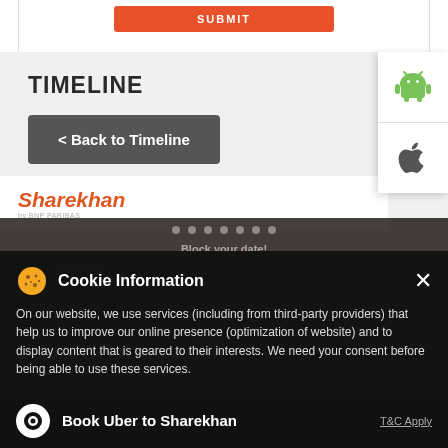[Figure (screenshot): Top of page with orange SUBMIT button partially visible]
TIMELINE
[Figure (screenshot): Android app store icon (green robot) in white panel on right side]
[Figure (screenshot): Apple app store icon (Apple logo) in white panel on right side]
< Back to Timeline
[Figure (logo): Sharekhan by BNP PARIBAS logo in orange italic text]
Block your date!
WATCH
Gaurav Ratnaparkhi
Cookie Information
On our website, we use services (including from third-party providers) that help us to improve our online presence (optimization of website) and to display content that is geared to their interests. We need your consent before being able to use these services.
Book Uber to Sharekhan
T&C Apply